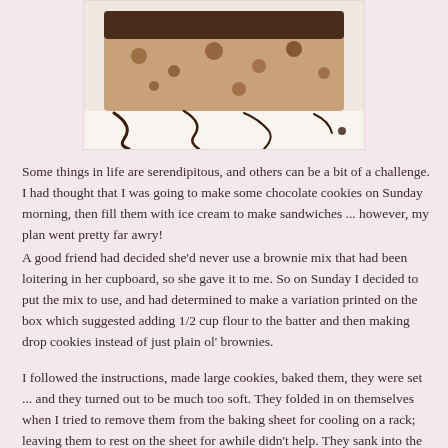[Figure (photo): Close-up photo of a chocolate brownie cookie with chocolate drizzle on top, on a white background.]
Some things in life are serendipitous, and others can be a bit of a challenge. I had thought that I was going to make some chocolate cookies on Sunday morning, then fill them with ice cream to make sandwiches ... however, my plan went pretty far awry!
A good friend had decided she'd never use a brownie mix that had been loitering in her cupboard, so she gave it to me. So on Sunday I decided to put the mix to use, and had determined to make a variation printed on the box which suggested adding 1/2 cup flour to the batter and then making drop cookies instead of just plain ol' brownies.
I followed the instructions, made large cookies, baked them, they were set ... and they turned out to be much too soft. They folded in on themselves when I tried to remove them from the baking sheet for cooling on a rack; leaving them to rest on the sheet for awhile didn't help. They sank into the cooling racks, becoming a bit wavy.